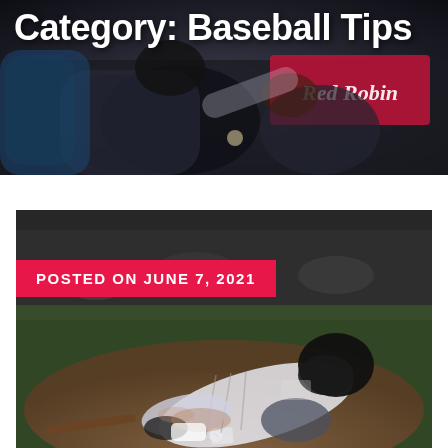[Figure (photo): Baseball players at home plate, catcher and runner colliding, dark stadium background with Red Robin advertisement visible]
Category: Baseball Tips
[Figure (photo): Baseball player in pinstripe uniform sliding into home plate, with dirt flying, another player attempting to make tag]
POSTED ON JUNE 7, 2021